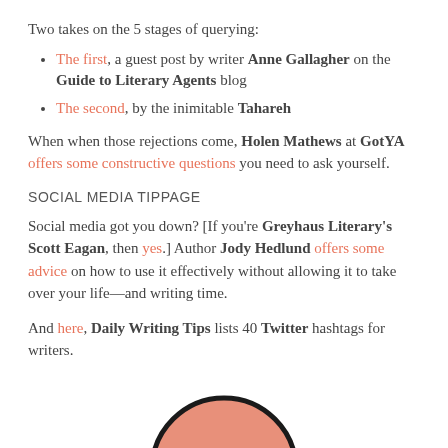Two takes on the 5 stages of querying:
The first, a guest post by writer Anne Gallagher on the Guide to Literary Agents blog
The second, by the inimitable Tahareh
When when those rejections come, Holen Mathews at GotYA offers some constructive questions you need to ask yourself.
SOCIAL MEDIA TIPPAGE
Social media got you down? [If you're Greyhaus Literary's Scott Eagan, then yes.] Author Jody Hedlund offers some advice on how to use it effectively without allowing it to take over your life—and writing time.
And here, Daily Writing Tips lists 40 Twitter hashtags for writers.
[Figure (illustration): Partial circular illustration showing top of a figure with a salmon/pink colored round head with dark outline, cropped at bottom of page]